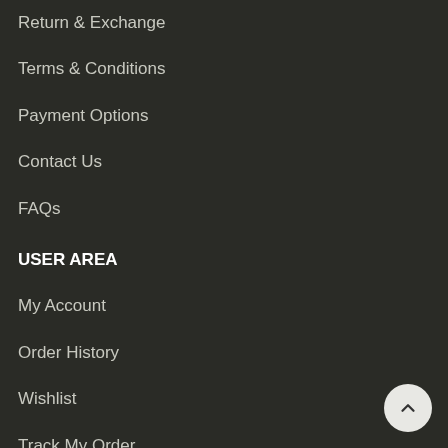Return & Exchange
Terms & Conditions
Payment Options
Contact Us
FAQs
USER AREA
My Account
Order History
Wishlist
Track My Order
Latest News
About Us